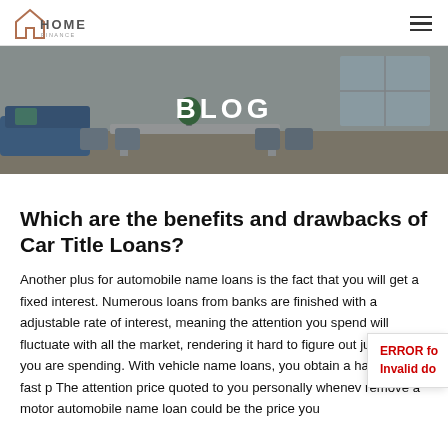HOME [logo] | hamburger menu
[Figure (photo): Interior living/dining room scene used as a blog hero banner with dark overlay and 'BLOG' text centered in white bold uppercase letters]
Which are the benefits and drawbacks of Car Title Loans?
Another plus for automobile name loans is the fact that you will get a fixed interest. Numerous loans from banks are finished with a adjustable rate of interest, meaning the attention you spend will fluctuate with all the market, rendering it hard to figure out just what you are spending. With vehicle name loans, you obtain a hard and fast p... The attention price quoted to you personally whenev... remove a motor automobile name loan could be the price you...